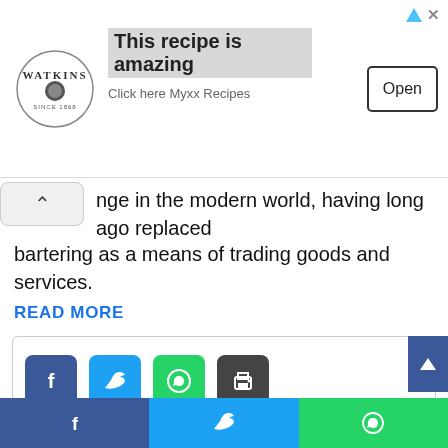[Figure (infographic): Advertisement banner: Watkins logo on left, bold text 'This recipe is amazing' with subtitle 'Click here Myxx Recipes', and an 'Open' button on the right. Ad attribution icons top right.]
nge in the modern world, having long ago replaced bartering as a means of trading goods and services.
READ MORE
[Figure (infographic): Social share buttons row: Facebook (blue), Twitter (cyan), WhatsApp (green), Print (dark gray)]
Related Articles
Model Mushk Kaleem Celebrates 28th Birthday In
6 minutes ago
[Figure (infographic): Bottom navigation bar with Facebook, Twitter, and WhatsApp icons in their respective brand colors]